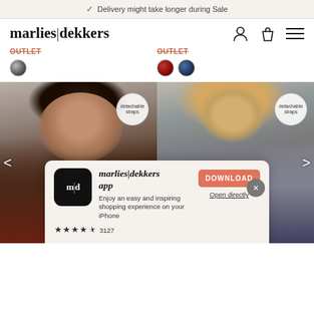Delivery might take longer during Sale
marlies|dekkers
OUTLET
OUTLET
[Figure (photo): Two female models wearing lingerie. Left model has dark hair, right model has blonde wavy hair. Both have 'detachable straps' badges on their images.]
marlies|dekkers app
Enjoy an easy and inspiring shopping experience on your iPhone
DOWNLOAD
Open directly
★★★★½ 3127